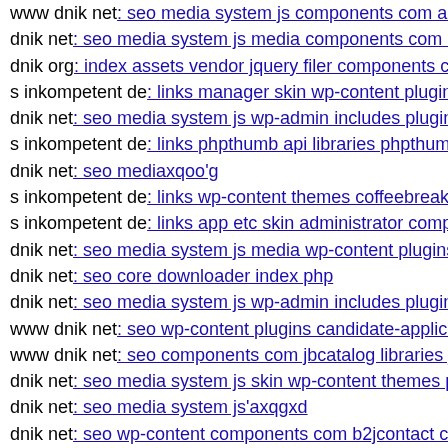www dnik net: seo media system js components com alpha...
dnik net: seo media system js media components com b2jc...
dnik org: index assets vendor jquery filer components com...
s inkompetent de: links manager skin wp-content plugins v...
dnik net: seo media system js wp-admin includes pluginsd...
s inkompetent de: links phpthumb api libraries phpthumb p...
dnik net: seo mediaxqoo'g
s inkompetent de: links wp-content themes coffeebreak lib...
s inkompetent de: links app etc skin administrator compon...
dnik net: seo media system js media wp-content plugins re...
dnik net: seo core downloader index php
dnik net: seo media system js wp-admin includes plugins c...
www dnik net: seo wp-content plugins candidate-applicati...
www dnik net: seo components com jbcatalog libraries jsu...
dnik net: seo media system js skin wp-content themes prem...
dnik net: seo media system js'axqgxd
dnik net: seo wp-content components com b2jcontact com...
dnik net: seo media system js media administrator android...
s inkompetent de: links netcat admin neko php
s inkompetent de: links components com civicrm civicrm p...